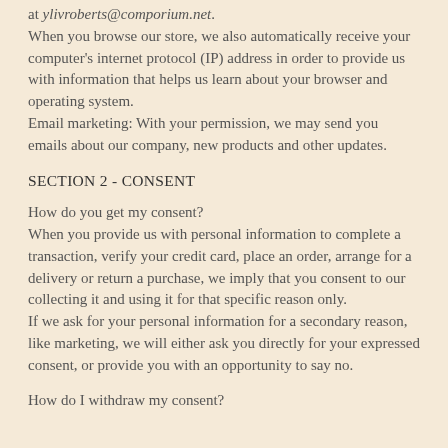at ylivroberts@comporium.net. When you browse our store, we also automatically receive your computer's internet protocol (IP) address in order to provide us with information that helps us learn about your browser and operating system. Email marketing: With your permission, we may send you emails about our company, new products and other updates.
SECTION 2 - CONSENT
How do you get my consent? When you provide us with personal information to complete a transaction, verify your credit card, place an order, arrange for a delivery or return a purchase, we imply that you consent to our collecting it and using it for that specific reason only. If we ask for your personal information for a secondary reason, like marketing, we will either ask you directly for your expressed consent, or provide you with an opportunity to say no.
How do I withdraw my consent?